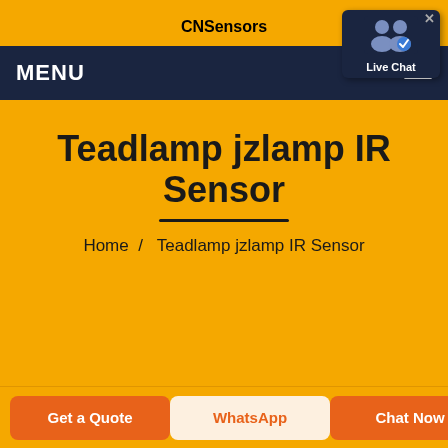CNSensors
MENU
[Figure (other): Live Chat widget with two-person icon and blue background, with close X button]
Teadlamp jzlamp IR Sensor
Home  /  Teadlamp jzlamp IR Sensor
Get a Quote
WhatsApp
Chat Now